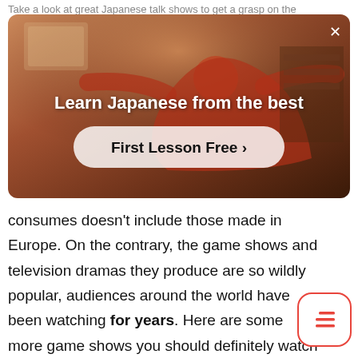Take a look at great Japanese talk shows to get a grasp on the
[Figure (screenshot): Advertisement banner for Japanese language learning. Shows a person in a red outfit with arms outstretched against a warm-toned background. Title reads 'Learn Japanese from the best' with a call-to-action button 'First Lesson Free >' and a close (X) button in the top right corner.]
consumes doesn’t include those made in Europe. On the contrary, the game shows and television dramas they produce are so wildly popular, audiences around the world have been watching for years. Here are some more game shows you should definitely watch if you love the ones w already mentioned.